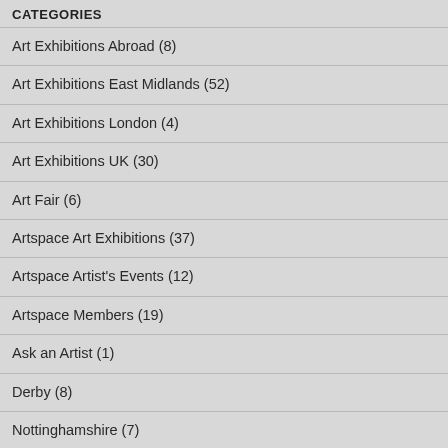CATEGORIES
Art Exhibitions Abroad (8)
Art Exhibitions East Midlands (52)
Art Exhibitions London (4)
Art Exhibitions UK (30)
Art Fair (6)
Artspace Art Exhibitions (37)
Artspace Artist's Events (12)
Artspace Members (19)
Ask an Artist (1)
Derby (8)
Nottinghamshire (7)
Open Studios (3)